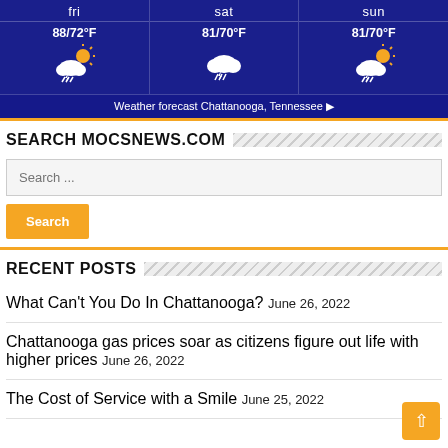[Figure (infographic): Weather forecast widget showing Friday 88/72°F partly cloudy with lightning, Saturday 81/70°F thunderstorm, Sunday 81/70°F partly cloudy with lightning. Blue background with white text.]
Weather forecast Chattanooga, Tennessee ▶
SEARCH MOCSNEWS.COM
Search ...
Search
RECENT POSTS
What Can't You Do In Chattanooga? June 26, 2022
Chattanooga gas prices soar as citizens figure out life with higher prices June 26, 2022
The Cost of Service with a Smile June 25, 2022